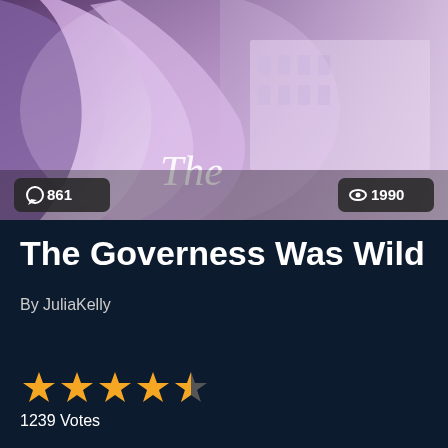[Figure (photo): Book cover image showing a woman in a lavender/purple flowing dress with a grand building visible in the background. The title 'The' is partially visible in cursive white text. Two overlay badges show comment count 861 and view count 1990.]
The Governess Was Wild
By JuliaKelly
[Figure (other): Star rating display: 4.5 out of 5 stars (4 full gold stars and 1 half gold star)]
1239 Votes